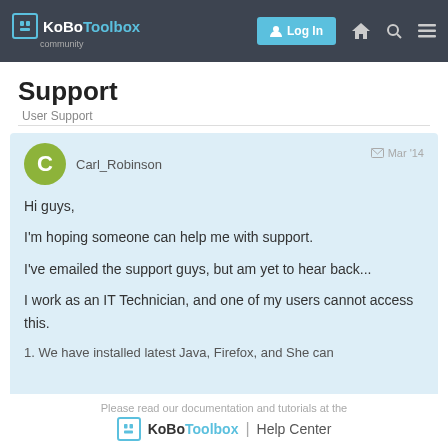KoBoToolbox community | Log In
Support
User Support
Carl_Robinson
Mar '14

Hi guys,

I'm hoping someone can help me with support.

I've emailed the support guys, but am yet to hear back...

I work as an IT Technician, and one of my users cannot access this.

1. We have installed latest Java, Firefox, and She can
Please read our documentation and tutorials at the KoBoToolbox | Help Center